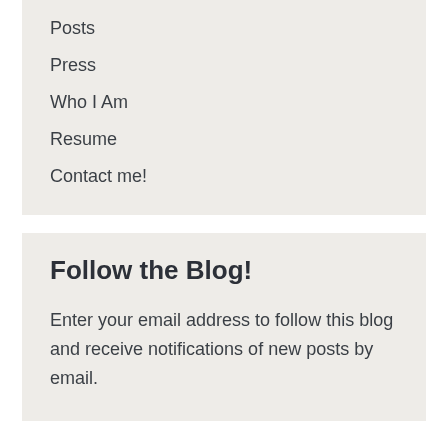Posts
Press
Who I Am
Resume
Contact me!
Follow the Blog!
Enter your email address to follow this blog and receive notifications of new posts by email.